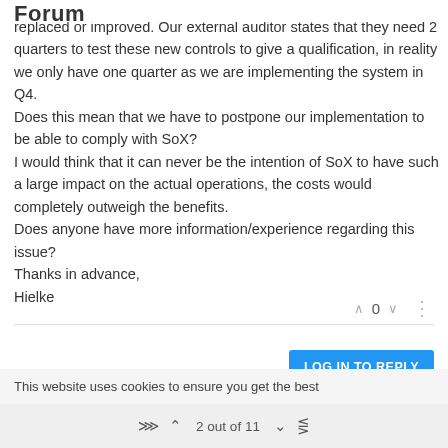Forum
replaced or improved. Our external auditor states that they need 2 quarters to test these new controls to give a qualification, in reality we only have one quarter as we are implementing the system in Q4. Does this mean that we have to postpone our implementation to be able to comply with SoX? I would think that it can never be the intention of SoX to have such a large impact on the actual operations, the costs would completely outweigh the benefits. Does anyone have more information/experience regarding this issue? Thanks in advance, Hielke
0
LOG IN TO REPLY
GOT IT!
This website uses cookies to ensure you get the best
2 out of 11